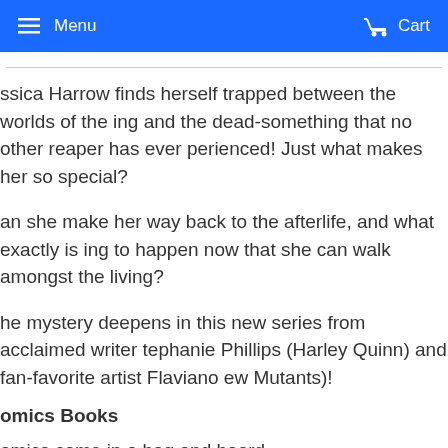Menu  Cart
ssica Harrow finds herself trapped between the worlds of the ing and the dead-something that no other reaper has ever perienced! Just what makes her so special?
an she make her way back to the afterlife, and what exactly is ing to happen now that she can walk amongst the living?
he mystery deepens in this new series from acclaimed writer tephanie Phillips (Harley Quinn) and fan-favorite artist Flaviano ew Mutants)!
omics Books
omics come in a bag and board.
ock image